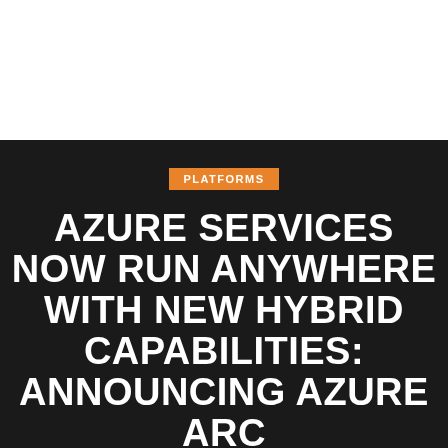PLATFORMS
AZURE SERVICES NOW RUN ANYWHERE WITH NEW HYBRID CAPABILITIES: ANNOUNCING AZURE ARC
ADMIN   NOVEMBER 7, 2019